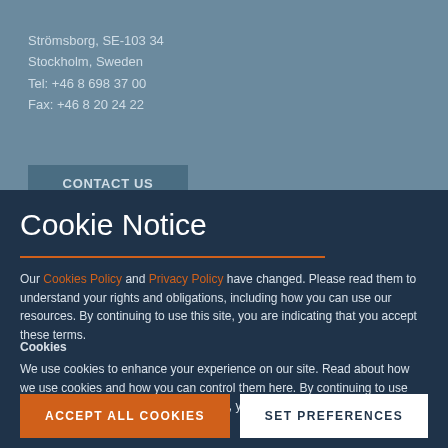Strömsborg, SE-103 34
Stockholm, Sweden
Tel: +46 8 698 37 00
Fax: +46 8 20 24 22
CONTACT US
Cookie Notice
Our Cookies Policy and Privacy Policy have changed. Please read them to understand your rights and obligations, including how you can use our resources. By continuing to use this site, you are indicating that you accept these terms.
Cookies
We use cookies to enhance your experience on our site. Read about how we use cookies and how you can control them here. By continuing to use this site, without changing your settings, you are indicating that you accept this policy.
ACCEPT ALL COOKIES
SET PREFERENCES